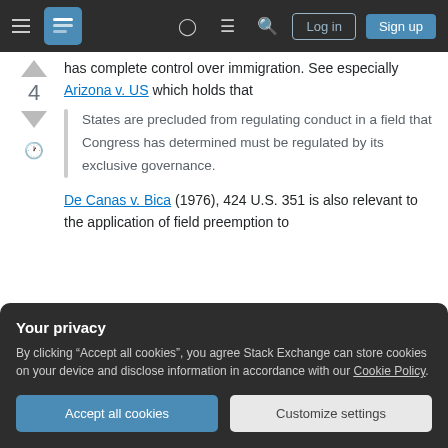Stack Exchange navigation bar with Log in and Sign up buttons
has complete control over immigration. See especially Arizona v. US which holds that
States are precluded from regulating conduct in a field that Congress has determined must be regulated by its exclusive governance.
De Canas v. Bica (1976), 424 U.S. 351 is also relevant to the application of field preemption to
Your privacy
By clicking "Accept all cookies", you agree Stack Exchange can store cookies on your device and disclose information in accordance with our Cookie Policy.
Accept all cookies
Customize settings
in Arizona the court held that